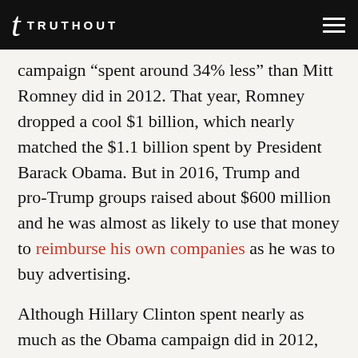TRUTHOUT
campaign “spent around 34% less” than Mitt Romney did in 2012. That year, Romney dropped a cool $1 billion, which nearly matched the $1.1 billion spent by President Barack Obama. But in 2016, Trump and pro-Trump groups raised about $600 million and he was almost as likely to use that money to reimburse his own companies as he was to buy advertising.
Although Hillary Clinton spent nearly as much as the Obama campaign did in 2012, many broadcasters found that early predictions of “the